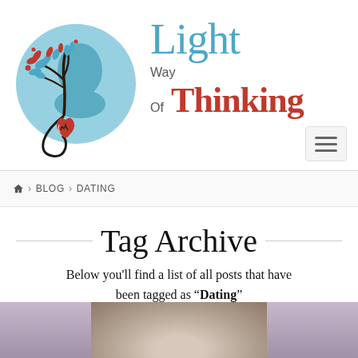[Figure (logo): Light Way Of Thinking logo — illustrated tree with blue and red leaves on left side of blue circle with face silhouette, stethoscope curling to a red heart below]
Light Way Of Thinking
☖ › BLOG › DATING
Tag Archive
Below you'll find a list of all posts that have been tagged as "Dating"
[Figure (photo): Partial photograph visible at bottom of page showing a person outdoors with blurred purple/grey background]